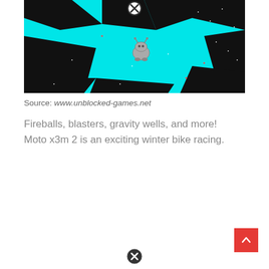[Figure (screenshot): Screenshot of a video game showing a cyan/turquoise background with black geometric platform shapes and a small grey alien/creature character in the center. A white circle with X close button appears at the top center of the image.]
Source: www.unblocked-games.net
Fireballs, blasters, gravity wells, and more! Moto x3m 2 is an exciting winter bike racing.